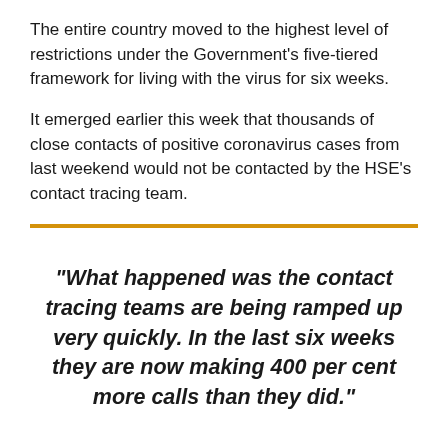The entire country moved to the highest level of restrictions under the Government’s five-tiered framework for living with the virus for six weeks.
It emerged earlier this week that thousands of close contacts of positive coronavirus cases from last weekend would not be contacted by the HSE’s contact tracing team.
“What happened was the contact tracing teams are being ramped up very quickly. In the last six weeks they are now making 400 per cent more calls than they did.”